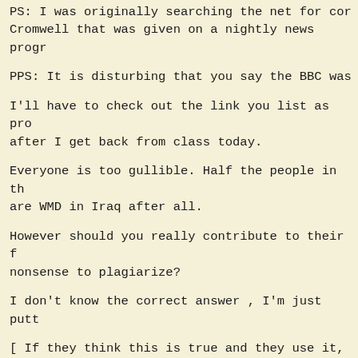PS: I was originally searching the net for corr Cromwell that was given on a nightly news progr
PPS: It is disturbing that you say the BBC was
I'll have to check out the link you list as pro after I get back from class today.
Everyone is too gullible. Half the people in th are WMD in Iraq after all.
However should you really contribute to their f nonsense to plagiarize?
I don't know the correct answer , I'm just putt
[ If they think this is true and they use it, t deserve.  And if their schoolteachers accept gets what it deserves....  But really, how do e-mail address, hidden about half-way down a and even the part about the BBC link (which * t the b tt b t li th t th